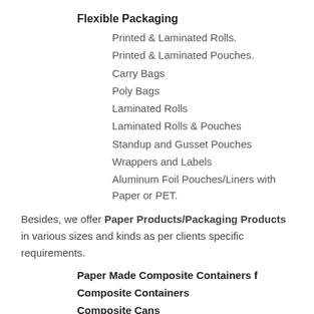Flexible Packaging
Printed & Laminated Rolls.
Printed & Laminated Pouches.
Carry Bags
Poly Bags
Laminated Rolls
Laminated Rolls & Pouches
Standup and Gusset Pouches
Wrappers and Labels
Aluminum Foil Pouches/Liners with Paper or PET.
Besides, we offer Paper Products/Packaging Products in various sizes and kinds as per clients specific requirements.
Paper Made Composite Containers f
Composite Containers
Composite Cans
Composite Containers
Paper Made Canisters